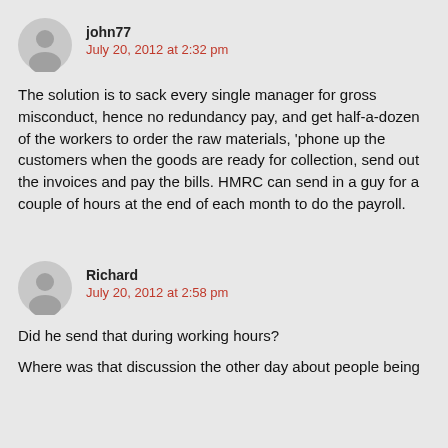john77
July 20, 2012 at 2:32 pm
The solution is to sack every single manager for gross misconduct, hence no redundancy pay, and get half-a-dozen of the workers to order the raw materials, 'phone up the customers when the goods are ready for collection, send out the invoices and pay the bills. HMRC can send in a guy for a couple of hours at the end of each month to do the payroll.
Richard
July 20, 2012 at 2:58 pm
Did he send that during working hours?
Where was that discussion the other day about people being